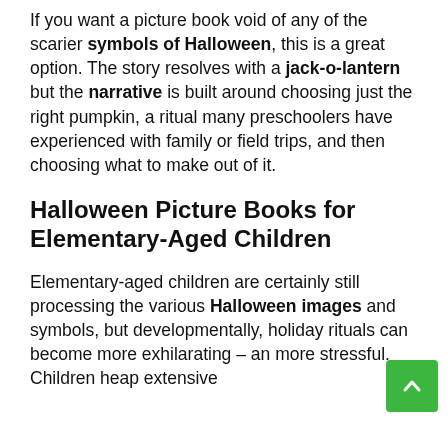If you want a picture book void of any of the scarier symbols of Halloween, this is a great option. The story resolves with a jack-o-lantern but the narrative is built around choosing just the right pumpkin, a ritual many preschoolers have experienced with family or field trips, and then choosing what to make out of it.
Halloween Picture Books for Elementary-Aged Children
Elementary-aged children are certainly still processing the various Halloween images and symbols, but developmentally, holiday rituals can become more exhilarating – and more stressful. Children heap extensive